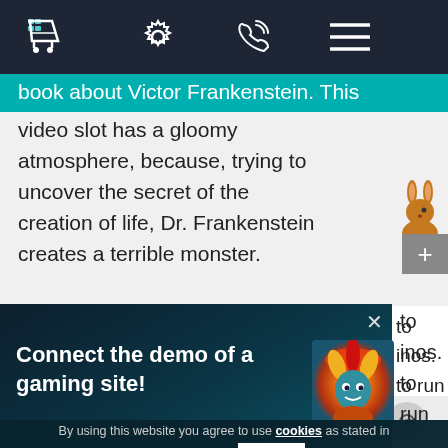[Figure (screenshot): Website navigation bar with dark background containing a shopping cart icon, settings gear icon, phone icon, and hamburger menu icon in white]
book about Victor Frankenstein. This video slot has a gloomy atmosphere, because, trying to uncover the secret of the creation of life, Dr. Frankenstein creates a terrible monster.
Connect the demo of a gaming site!
By using this website you agree to use cookies as stated in the Customer agreement
OK
Decline
DEMO